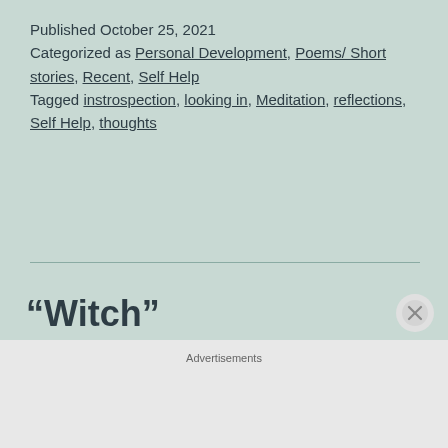Published October 25, 2021
Categorized as Personal Development, Poems/ Short stories, Recent, Self Help
Tagged instrospection, looking in, Meditation, reflections, Self Help, thoughts
“Witch”
Advertisements